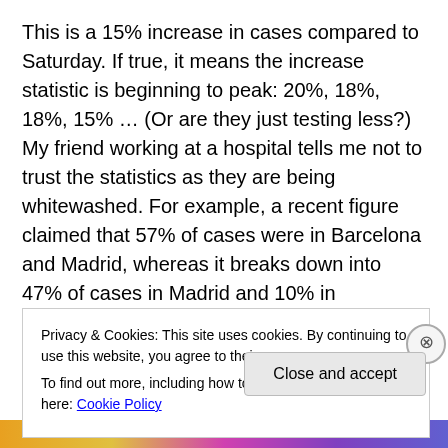This is a 15% increase in cases compared to Saturday. If true, it means the increase statistic is beginning to peak: 20%, 18%, 18%, 15% … (Or are they just testing less?) My friend working at a hospital tells me not to trust the statistics as they are being whitewashed. For example, a recent figure claimed that 57% of cases were in Barcelona and Madrid, whereas it breaks down into 47% of cases in Madrid and 10% in Barcelona, but this was part of an effort to conceal Madrid's poor management of the crisis. Where infections have jumped is in the community of Castilla-La Mancha, probably from Madrid residents heading out of
Privacy & Cookies: This site uses cookies. By continuing to use this website, you agree to their use.
To find out more, including how to control cookies, see here: Cookie Policy